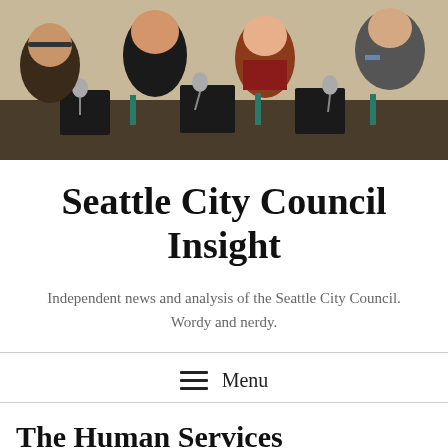[Figure (photo): Photo of Seattle City Council members seated at a council table, looking down at papers and laptops, with microphones in front of them. Multiple people visible including women and a man in a suit on the right.]
Seattle City Council Insight
Independent news and analysis of the Seattle City Council. Wordy and nerdy.
Menu
The Human Services Department got